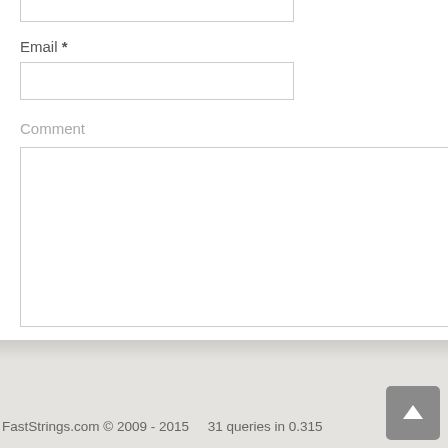Email *
Comment
Submit Comment
FastStrings.com © 2009 - 2015    31 queries in 0.315